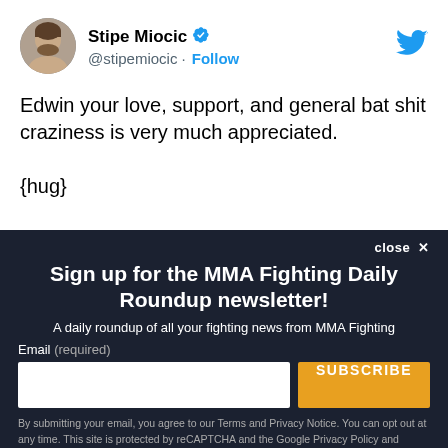[Figure (screenshot): Twitter profile avatar of Stipe Miocic — circular photo of a man with beard]
Stipe Miocic ✓ @stipemiocic · Follow
[Figure (logo): Twitter bird logo in blue]
Edwin your love, support, and general bat shit craziness is very much appreciated.

{hug}
close ✕
Sign up for the MMA Fighting Daily Roundup newsletter!
A daily roundup of all your fighting news from MMA Fighting
Email (required)
SUBSCRIBE
By submitting your email, you agree to our Terms and Privacy Notice. You can opt out at any time. This site is protected by reCAPTCHA and the Google Privacy Policy and Terms of Service apply.